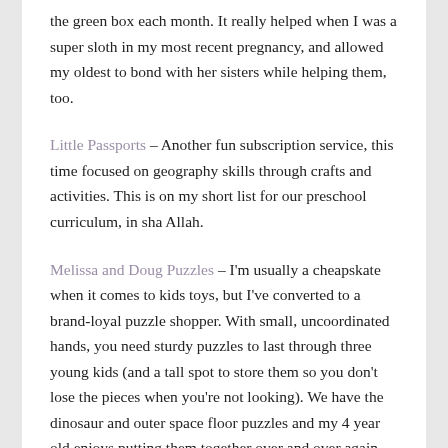the green box each month. It really helped when I was a super sloth in my most recent pregnancy, and allowed my oldest to bond with her sisters while helping them, too.
Little Passports – Another fun subscription service, this time focused on geography skills through crafts and activities. This is on my short list for our preschool curriculum, in sha Allah.
Melissa and Doug Puzzles – I'm usually a cheapskate when it comes to kids toys, but I've converted to a brand-loyal puzzle shopper. With small, uncoordinated hands, you need sturdy puzzles to last through three young kids (and a tall spot to store them so you don't lose the pieces when you're not looking). We have the dinosaur and outer space floor puzzles and my 4 year old enjoys putting them together over and over again.
Books